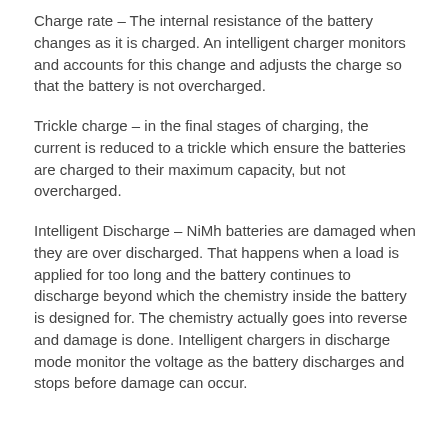Charge rate – The internal resistance of the battery changes as it is charged. An intelligent charger monitors and accounts for this change and adjusts the charge so that the battery is not overcharged.
Trickle charge – in the final stages of charging, the current is reduced to a trickle which ensure the batteries are charged to their maximum capacity, but not overcharged.
Intelligent Discharge – NiMh batteries are damaged when they are over discharged. That happens when a load is applied for too long and the battery continues to discharge beyond which the chemistry inside the battery is designed for. The chemistry actually goes into reverse and damage is done. Intelligent chargers in discharge mode monitor the voltage as the battery discharges and stops before damage can occur.